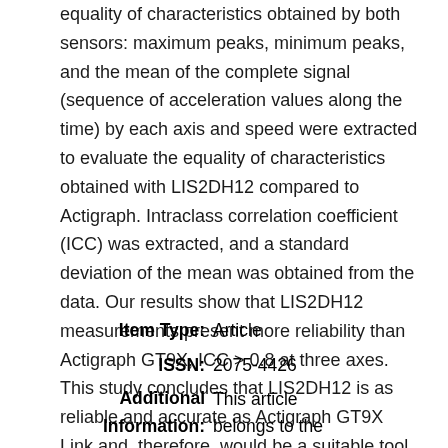equality of characteristics obtained by both sensors: maximum peaks, minimum peaks, and the mean of the complete signal (sequence of acceleration values along the time) by each axis and speed were extracted to evaluate the equality of characteristics obtained with LIS2DH12 compared to Actigraph. Intraclass correlation coefficient (ICC) was extracted, and a standard deviation of the mean was obtained from the data. Our results show that LIS2DH12 measurements present more reliability than Actigraph GT9X, ICC > 0.8 at three axes. This study concludes that LIS2DH12 is as reliable and accurate as Actigraph GT9X Link and, therefore, would be a suitable tool for future kinematic studies.
| Label | Value |
| --- | --- |
| Item Type: | Article |
| ISSN: | 2075-4426 |
| Additional Information: | This article belongs to the |